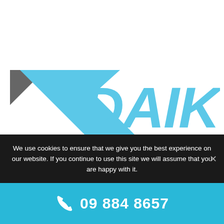[Figure (logo): Daikin logo with blue chevron/triangle shape on left and DAIKIN text in light blue bold italic font on right]
We use cookies to ensure that we give you the best experience on our website. If you continue to use this site we will assume that you are happy with it.
09 884 8657